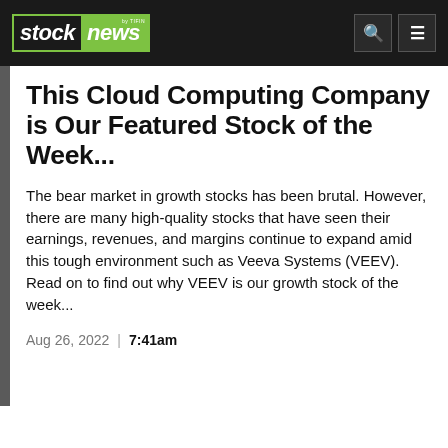stock news by TIFIN
This Cloud Computing Company is Our Featured Stock of the Week...
The bear market in growth stocks has been brutal. However, there are many high-quality stocks that have seen their earnings, revenues, and margins continue to expand amid this tough environment such as Veeva Systems (VEEV). Read on to find out why VEEV is our growth stock of the week...
Aug 26, 2022 | 7:41am